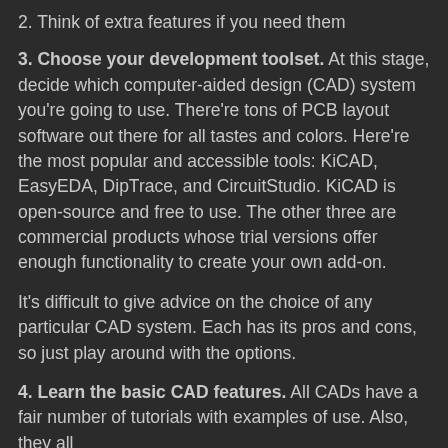2. Think of extra features if you need them
3. Choose your development toolset. At this stage, decide which computer-aided design (CAD) system you're going to use. There're tons of PCB layout software out there for all tastes and colors. Here're the most popular and accessible tools: KiCAD, EasyEDA, DipTrace, and CircuitStudio. KiCAD is open-source and free to use. The other three are commercial products whose trial versions offer enough functionality to create your own add-on.
It's difficult to give advice on the choice of any particular CAD system. Each has its pros and cons, so just play around with the options.
4. Learn the basic CAD features. All CADs have a fair number of tutorials with examples of use. Also, they all